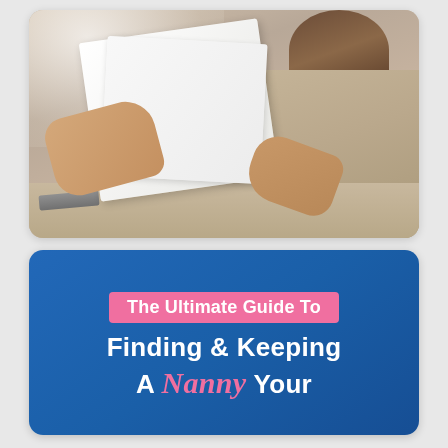[Figure (photo): A woman with long brown hair wearing a beige/tan sweater sitting at a desk, holding and reading white papers/documents. A laptop is partially visible on the left side of the desk. The lighting is bright from the upper left.]
The Ultimate Guide To Finding & Keeping A Nanny Your